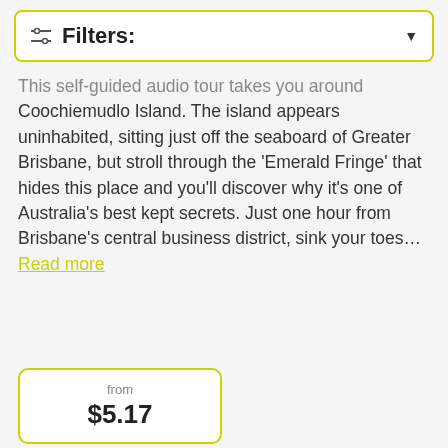Filters:
This self-guided audio tour takes you around Coochiemudlo Island. The island appears uninhabited, sitting just off the seaboard of Greater Brisbane, but stroll through the 'Emerald Fringe' that hides this place and you'll discover why it's one of Australia's best kept secrets. Just one hour from Brisbane's central business district, sink your toes... Read more
from $5.17
[Figure (photo): Black and white photo of a group of people gathered outdoors at night around a bright light source, with trees in the background.]